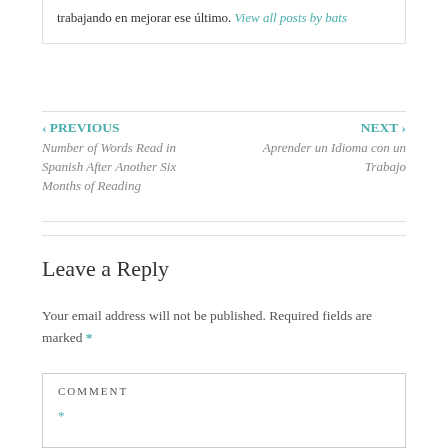trabajando en mejorar ese último. View all posts by bats
‹ PREVIOUS
Number of Words Read in Spanish After Another Six Months of Reading
NEXT ›
Aprender un Idioma con un Trabajo
Leave a Reply
Your email address will not be published. Required fields are marked *
COMMENT *